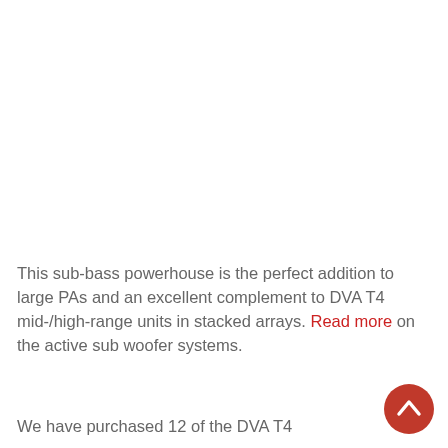This sub-bass powerhouse is the perfect addition to large PAs and an excellent complement to DVA T4 mid-/high-range units in stacked arrays. Read more on the active sub woofer systems.
We have purchased 12 of the DVA T4
[Figure (other): Red circular scroll-to-top button with upward chevron arrow icon, positioned at bottom right corner of page]